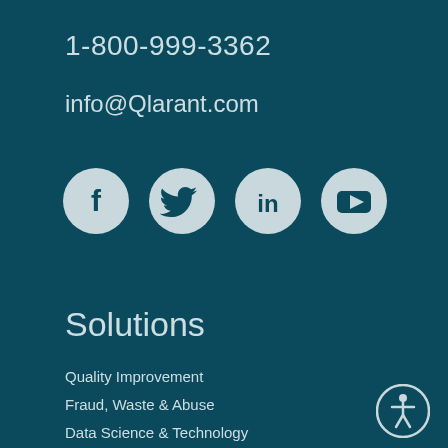1-800-999-3362
info@Qlarant.com
[Figure (infographic): Four social media icons in light grey circles: Facebook, Twitter, LinkedIn, YouTube]
Solutions
Quality Improvement
Fraud, Waste & Abuse
Data Science & Technology
All Solutions
[Figure (logo): Accessibility icon - person in circle outline]